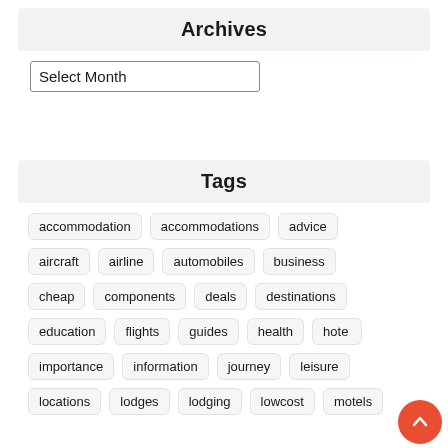Archives
Select Month
Tags
accommodation
accommodations
advice
aircraft
airline
automobiles
business
cheap
components
deals
destinations
education
flights
guides
health
hotel
importance
information
journey
leisure
locations
lodges
lodging
lowcost
motels